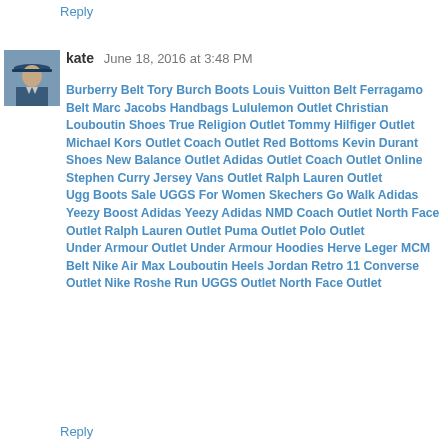Reply
kate  June 18, 2016 at 3:48 PM
Burberry Belt Tory Burch Boots Louis Vuitton Belt Ferragamo Belt Marc Jacobs Handbags Lululemon Outlet Christian Louboutin Shoes True Religion Outlet Tommy Hilfiger Outlet
Michael Kors Outlet Coach Outlet Red Bottoms Kevin Durant Shoes New Balance Outlet Adidas Outlet Coach Outlet Online Stephen Curry Jersey Vans Outlet Ralph Lauren Outlet
Ugg Boots Sale UGGS For Women Skechers Go Walk Adidas Yeezy Boost Adidas Yeezy Adidas NMD Coach Outlet North Face Outlet Ralph Lauren Outlet Puma Outlet Polo Outlet
Under Armour Outlet Under Armour Hoodies Herve Leger MCM Belt Nike Air Max Louboutin Heels Jordan Retro 11 Converse Outlet Nike Roshe Run UGGS Outlet North Face Outlet
Reply